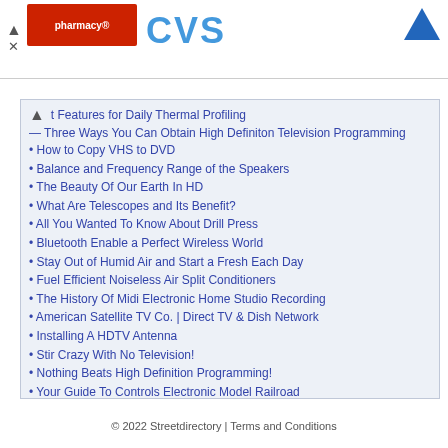[Figure (logo): CVS pharmacy advertisement banner with red pharmacy logo box and blue CVS text, plus blue triangle icon in top right]
t Features for Daily Thermal Profiling
- Three Ways You Can Obtain High Definiton Television Programming
How to Copy VHS to DVD
Balance and Frequency Range of the Speakers
The Beauty Of Our Earth In HD
What Are Telescopes and Its Benefit?
All You Wanted To Know About Drill Press
Bluetooth Enable a Perfect Wireless World
Stay Out of Humid Air and Start a Fresh Each Day
Fuel Efficient Noiseless Air Split Conditioners
The History Of Midi Electronic Home Studio Recording
American Satellite TV Co. | Direct TV & Dish Network
Installing A HDTV Antenna
Stir Crazy With No Television!
Nothing Beats High Definition Programming!
Your Guide To Controls Electronic Model Railroad
» More on Electronics
© 2022 Streetdirectory | Terms and Conditions